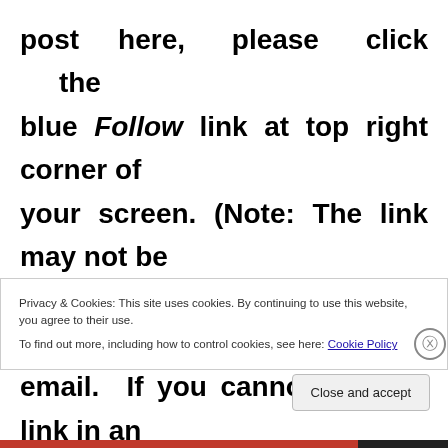post here, please click the blue Follow link at top right corner of your screen. (Note: The link may not be visible if you are reading this blog in an email. If you cannot see the link in an email, click the title of the blog to be
Privacy & Cookies: This site uses cookies. By continuing to use this website, you agree to their use.
To find out more, including how to control cookies, see here: Cookie Policy
Close and accept